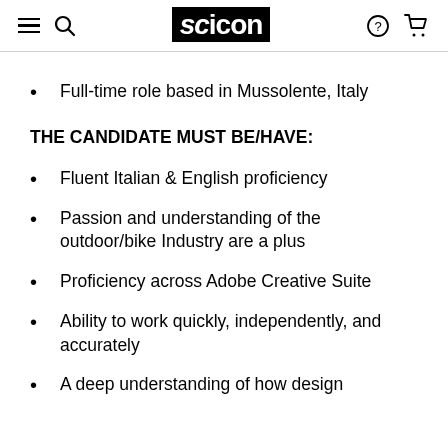SC ICON (logo with navigation icons)
Full-time role based in Mussolente, Italy
THE CANDIDATE MUST BE/HAVE:
Fluent Italian & English proficiency
Passion and understanding of the outdoor/bike Industry are a plus
Proficiency across Adobe Creative Suite
Ability to work quickly, independently, and accurately
A deep understanding of how design